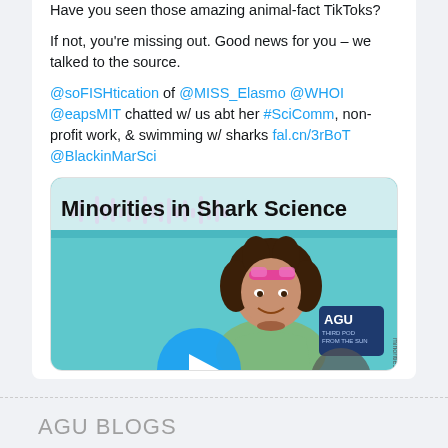Have you seen those amazing animal-fact TikToks?

If not, you're missing out. Good news for you – we talked to the source.

@soFISHtication of @MISS_Elasmo @WHOI @eapsMIT chatted w/ us abt her #SciComm, non-profit work, & swimming w/ sharks fal.cn/3rBoT @BlackinMarSci
[Figure (illustration): Illustrated image with 'Minorities in Shark Science' text header, showing a cartoon portrait of a woman with curly hair wearing goggles on her head and a green shirt, with teal water background and sound waveform, plus AGU badge. A play button is partially visible at bottom.]
AGU BLOGS